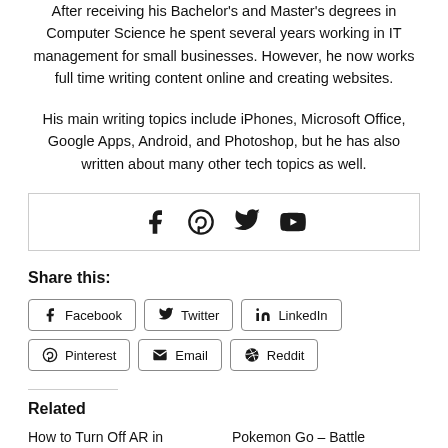After receiving his Bachelor's and Master's degrees in Computer Science he spent several years working in IT management for small businesses. However, he now works full time writing content online and creating websites.
His main writing topics include iPhones, Microsoft Office, Google Apps, Android, and Photoshop, but he has also written about many other tech topics as well.
[Figure (other): Social media icons: Facebook, Pinterest, Twitter, YouTube]
Share this:
Facebook
Twitter
LinkedIn
Pinterest
Email
Reddit
Related
How to Turn Off AR in
Pokemon Go – Battle